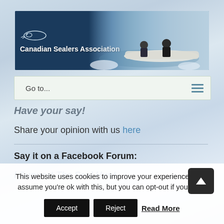[Figure (photo): Canadian Sealers Association banner with logo showing a seal silhouette and text, with background photo of people in a boat on icy water]
Go to...
Have your say!
Share your opinion with us here
Say it on a Facebook Forum:
I Support The Seal Hunt
This website uses cookies to improve your experience. We'll assume you're ok with this, but you can opt-out if you wish.
Accept  Reject  Read More